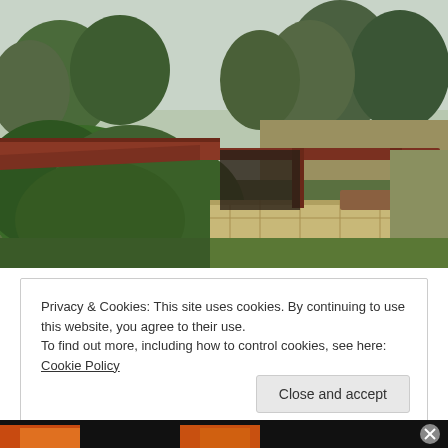[Figure (photo): Outdoor photo of a rustic stone and wooden structure with a pergola/covered porch area, surrounded by lush green vegetation and trees in the background. The roof appears to be reddish-brown corrugated material. The structure has wooden posts supporting the pergola. Overcast sky visible in the background.]
Privacy & Cookies: This site uses cookies. By continuing to use this website, you agree to their use.
To find out more, including how to control cookies, see here: Cookie Policy
Close and accept